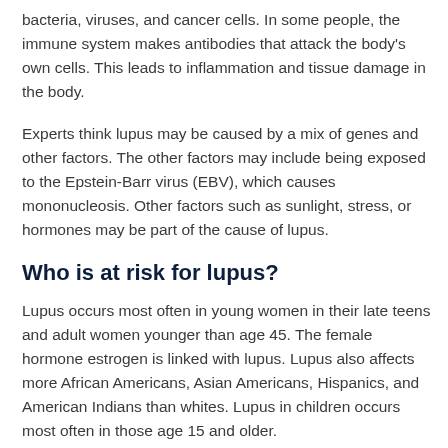bacteria, viruses, and cancer cells. In some people, the immune system makes antibodies that attack the body's own cells. This leads to inflammation and tissue damage in the body.
Experts think lupus may be caused by a mix of genes and other factors. The other factors may include being exposed to the Epstein-Barr virus (EBV), which causes mononucleosis. Other factors such as sunlight, stress, or hormones may be part of the cause of lupus.
Who is at risk for lupus?
Lupus occurs most often in young women in their late teens and adult women younger than age 45. The female hormone estrogen is linked with lupus. Lupus also affects more African Americans, Asian Americans, Hispanics, and American Indians than whites. Lupus in children occurs most often in those age 15 and older.